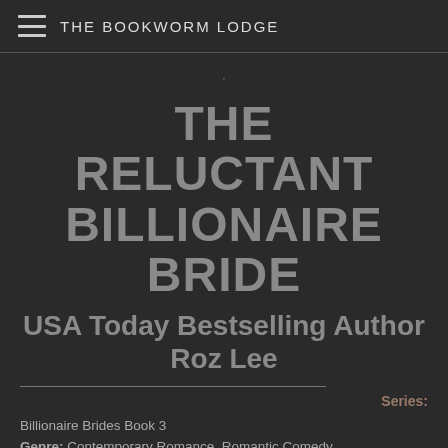THE BOOKWORM LODGE
THE RELUCTANT BILLIONAIRE BRIDE
USA Today Bestselling Author Roz Lee
Series:
Billionaire Brides Book 3
Genre: Contemporary Romance, Romantic Comedy
Publisher: State of Mind
Publication Date: June 15, 2018